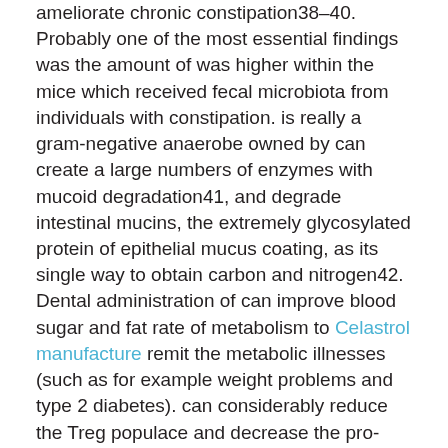ameliorate chronic constipation38–40. Probably one of the most essential findings was the amount of was higher within the mice which received fecal microbiota from individuals with constipation. is really a gram-negative anaerobe owned by can create a large numbers of enzymes with mucoid degradation41, and degrade intestinal mucins, the extremely glycosylated protein of epithelial mucus coating, as its single way to obtain carbon and nitrogen42. Dental administration of can improve blood sugar and fat rate of metabolism to Celastrol manufacture remit the metabolic illnesses (such as for example weight problems and type 2 diabetes). can considerably reduce the Treg populace and decrease the pro-inflammatory element expression to alleviate the ulcerative colitis43C45. Nevertheless, as yet, few studies possess investigated the partnership between and chronic constipation. Inside our research, pyrosequencing evaluation demonstrated the mice in FMT-C group had been abundant with the can degrade intestinal mucin resulting in CORO1A dry stool and lastly disturb the rate of the intestinal wall that